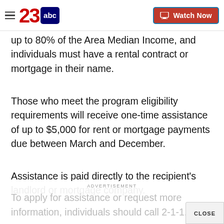23 ABC — Watch Now
up to 80% of the Area Median Income, and individuals must have a rental contract or mortgage in their name.
Those who meet the program eligibility requirements will receive one-time assistance of up to $5,000 for rent or mortgage payments due between March and December.
Assistance is paid directly to the recipient's landlord or mortgage company.
To apply for assistance or request more information, individuals should call 2-1-1.